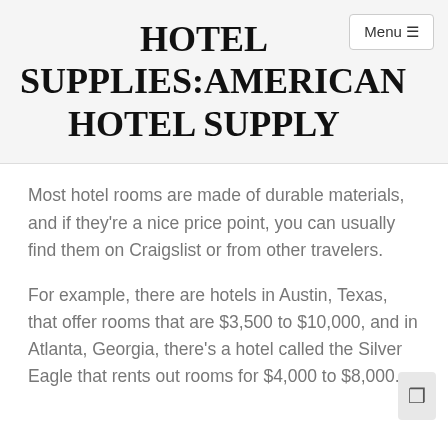HOTEL SUPPLIES:AMERICAN HOTEL SUPPLY
Most hotel rooms are made of durable materials, and if they're a nice price point, you can usually find them on Craigslist or from other travelers.
For example, there are hotels in Austin, Texas, that offer rooms that are $3,500 to $10,000, and in Atlanta, Georgia, there's a hotel called the Silver Eagle that rents out rooms for $4,000 to $8,000.